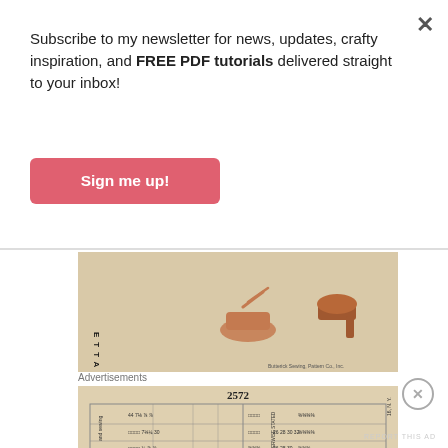Subscribe to my newsletter for news, updates, crafty inspiration, and FREE PDF tutorials delivered straight to your inbox!
Sign me up!
[Figure (photo): Vintage sewing pattern envelope showing illustrated women's shoes/heels on aged yellowish paper]
[Figure (photo): Vintage sewing pattern instruction sheet number 2572 with measurement table on aged paper]
Advertisements